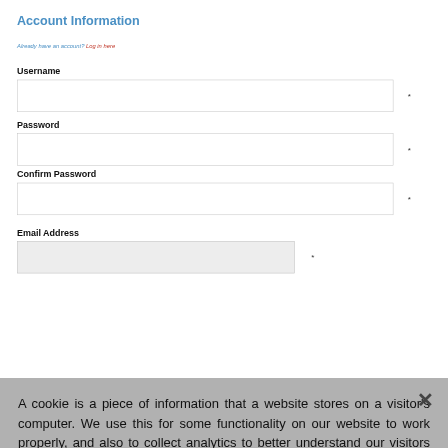Account Information
Already have an account? Log in here
Username
Password
Confirm Password
Email Address
A cookie is a piece of information that a website stores on a visitor's computer. We use this for some functionality on our website to work properly, and also to collect analytics to better understand our visitors and offer them a better experience. You can accept all cookies at once or fine-tune your preferences in the cookie settings.
Accept cookies · Taking CON...